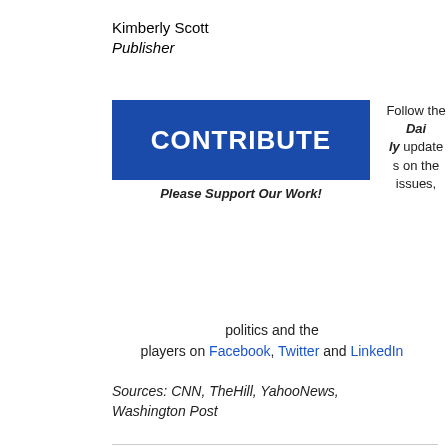Kimberly Scott
Publisher
[Figure (other): Blue CONTRIBUTE button with white bold text]
Please Support Our Work!
Follow the Daily updates on the issues, politics and the players on Facebook, Twitter and LinkedIn
Sources: CNN, TheHill, YahooNews, Washington Post
Related posts
[Figure (other): Thumbnail image showing a chart about share of voters who said it was 'very' or 'somewhat' important for Biden to pick a person of color as a running mate]